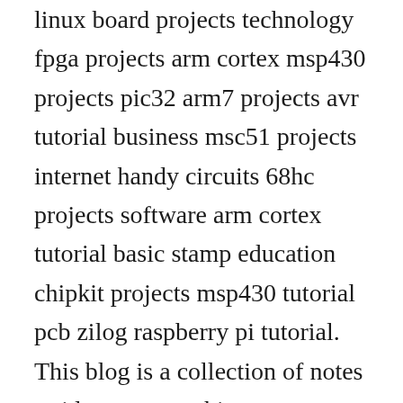linux board projects technology fpga projects arm cortex msp430 projects pic32 arm7 projects avr tutorial business msc51 projects internet handy circuits 68hc projects software arm cortex tutorial basic stamp education chipkit projects msp430 tutorial pcb zilog raspberry pi tutorial. This blog is a collection of notes as i learn to use this microprocessor in a scientific laboratory venue and geared specifically to developing science instruments. So i decided to come back to a platform i set aside a while ago. In this new tutorial, we will see the easiest way to connect